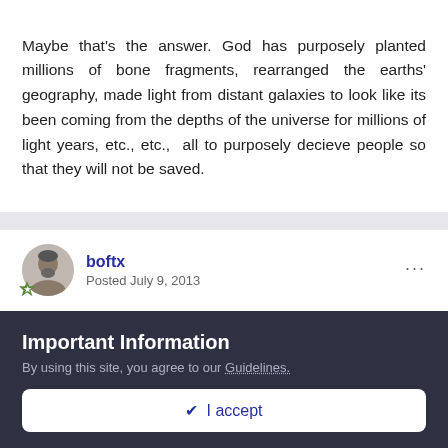Maybe that's the answer. God has purposely planted millions of bone fragments, rearranged the earths' geography, made light from distant galaxies to look like its been coming from the depths of the universe for millions of light years, etc., etc.,  all to purposely decieve people so that they will not be saved.
boftx
Posted July 9, 2013
SRS,

What you allude is what I called the second group in the young Earth camp. The verse that you quote is particularly apropos.
Important Information
By using this site, you agree to our Guidelines.
✓ I accept